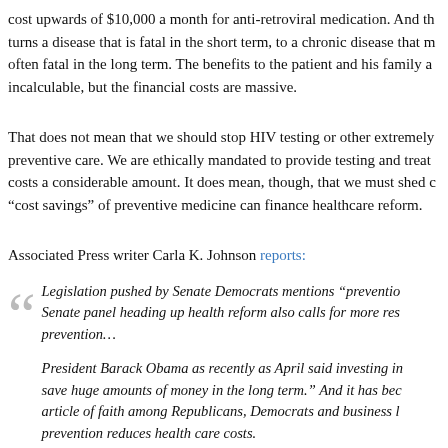cost upwards of $10,000 a month for anti-retroviral medication. And th turns a disease that is fatal in the short term, to a chronic disease that m often fatal in the long term. The benefits to the patient and his family a incalculable, but the financial costs are massive.
That does not mean that we should stop HIV testing or other extremely preventive care. We are ethically mandated to provide testing and treat costs a considerable amount. It does mean, though, that we must shed c “cost savings” of preventive medicine can finance healthcare reform.
Associated Press writer Carla K. Johnson reports:
Legislation pushed by Senate Democrats mentions “prevention”... Senate panel heading up health reform also calls for more res prevention…
President Barack Obama as recently as April said investing in save huge amounts of money in the long term.” And it has bec article of faith among Republicans, Democrats and business l prevention reduces health care costs.